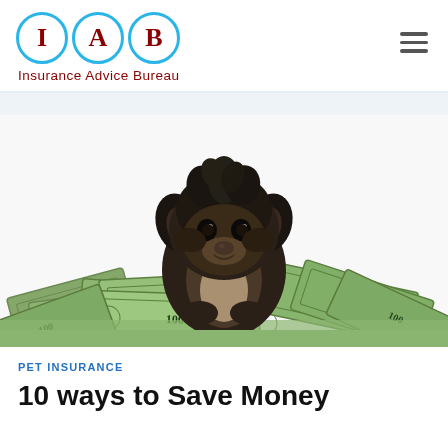[Figure (logo): IAB Insurance Advice Bureau logo — three letters I, A, B each enclosed in a cyan circle, with 'Insurance Advice Bureau' text below in dark red]
[Figure (photo): A small fluffy dark-colored puppy (Yorkiepoo or similar breed) sitting on top of a large pile of US dollar bills ($100 notes), white background]
PET INSURANCE
10 ways to Save Money